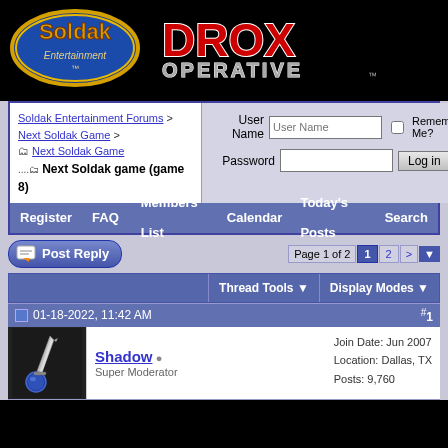[Figure (logo): Soldak Entertainment logo - blue oval with gold text]
[Figure (logo): Drox Operative logo - red and silver metallic text on black]
Soldak Entertainment Forums > Next Soldak Game > Next Soldak Game
Next Soldak game (game 8)
User Name | Password | Remember Me? | Log in
Register   FAQ   Members List   Calendar   Today's Posts   Search
Post Reply
Page 1 of 2   1   2   >
Thread Tools   Display Modes
01-18-2022, 11:42 AM   #1
[Figure (illustration): User avatar showing a silver dagger/knife with blue orb]
Shadow
Super Moderator
Join Date: Jun 2007
Location: Dallas, TX
Posts: 9,760